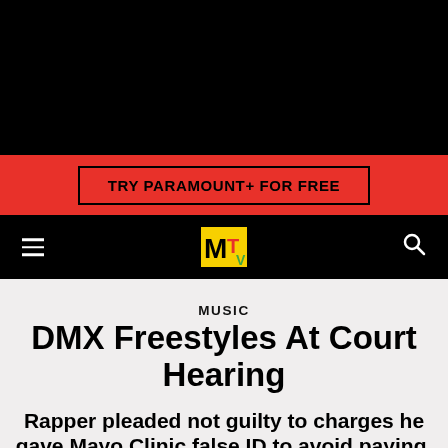[Figure (screenshot): Black header bar at top of page]
[Figure (logo): Red promotional banner with TRY PARAMOUNT+ FOR FREE button]
[Figure (logo): MTV navigation bar with hamburger menu, MTV logo in yellow/red/green, and search icon]
MUSIC
DMX Freestyles At Court Hearing
Rapper pleaded not guilty to charges he gave Mayo Clinic false ID to avoid paying.